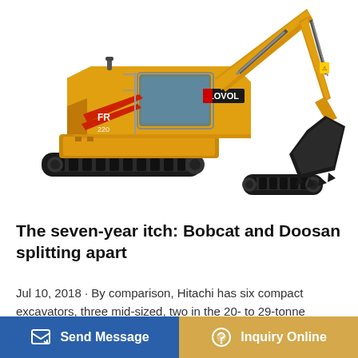[Figure (photo): Yellow LOVOL brand tracked excavator on white background, arm extended upward to the right with bucket at the bottom.]
The seven-year itch: Bobcat and Doosan splitting apart
Jul 10, 2018 · By comparison, Hitachi has six compact excavators, three mid-sized, two in the 20- to 29-tonne range 30…